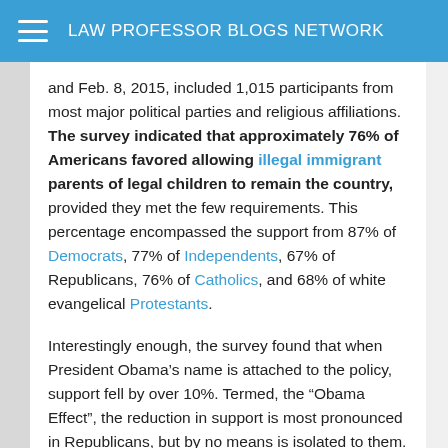LAW PROFESSOR BLOGS NETWORK
and Feb. 8, 2015, included 1,015 participants from most major political parties and religious affiliations. The survey indicated that approximately 76% of Americans favored allowing illegal immigrant parents of legal children to remain the country, provided they met the few requirements. This percentage encompassed the support from 87% of Democrats, 77% of Independents, 67% of Republicans, 76% of Catholics, and 68% of white evangelical Protestants.
Interestingly enough, the survey found that when President Obama’s name is attached to the policy, support fell by over 10%. Termed, the “Obama Effect”, the reduction in support is most pronounced in Republicans, but by no means is isolated to them. For